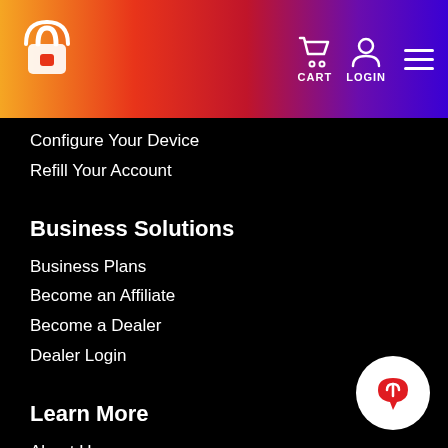CART  LOGIN  Menu
Configure Your Device
Refill Your Account
Business Solutions
Business Plans
Become an Affiliate
Become a Dealer
Dealer Login
Learn More
About Us
Coverage
Reviews
Blog